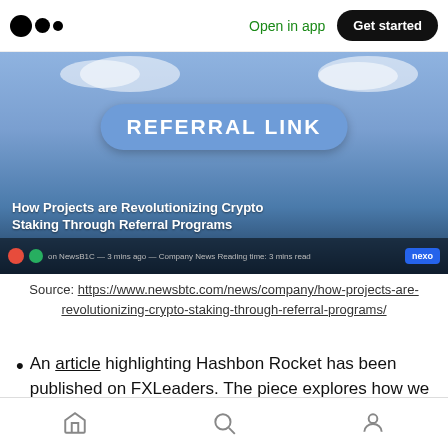Medium app header with logo, Open in app link, Get started button
[Figure (screenshot): Article thumbnail image showing cartoon raccoon characters holding a banner that reads REFERRAL LINK with title: How Projects are Revolutionizing Crypto Staking Through Referral Programs, with a NEXO badge in the bottom right]
Source: https://www.newsbtc.com/news/company/how-projects-are-revolutionizing-crypto-staking-through-referral-programs/
An article highlighting Hashbon Rocket has been published on FXLeaders. The piece explores how we aim to transform the
Bottom navigation bar with home, search, and profile icons